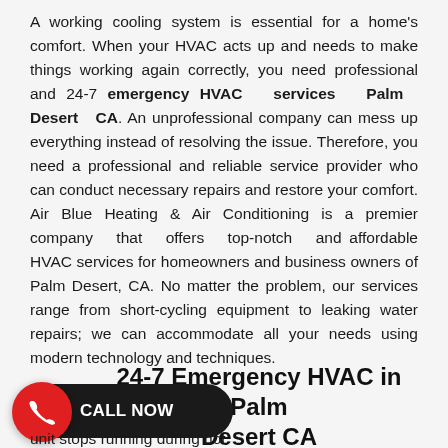A working cooling system is essential for a home's comfort. When your HVAC acts up and needs to make things working again correctly, you need professional and 24-7 emergency HVAC services Palm Desert CA. An unprofessional company can mess up everything instead of resolving the issue. Therefore, you need a professional and reliable service provider who can conduct necessary repairs and restore your comfort. Air Blue Heating & Air Conditioning is a premier company that offers top-notch and affordable HVAC services for homeowners and business owners of Palm Desert, CA. No matter the problem, our services range from short-cycling equipment to leaking water repairs; we can accommodate all your needs using modern technology and techniques.
24-7 Emergency HVAC in Palm Desert CA
unit stops running during hot